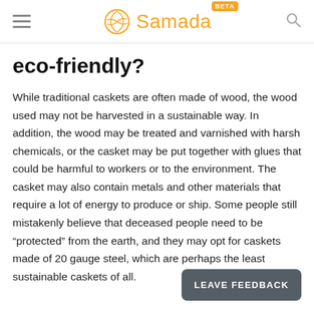Samada BETA
eco-friendly?
While traditional caskets are often made of wood, the wood used may not be harvested in a sustainable way. In addition, the wood may be treated and varnished with harsh chemicals, or the casket may be put together with glues that could be harmful to workers or to the environment. The casket may also contain metals and other materials that require a lot of energy to produce or ship. Some people still mistakenly believe that deceased people need to be “protected” from the earth, and they may opt for caskets made of 20 gauge steel, which are perhaps the least sustainable caskets of all.